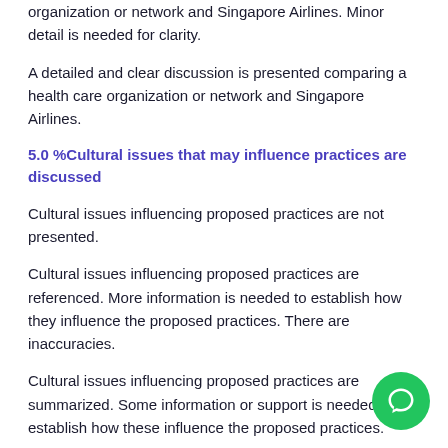organization or network and Singapore Airlines. Minor detail is needed for clarity.
A detailed and clear discussion is presented comparing a health care organization or network and Singapore Airlines.
5.0 %Cultural issues that may influence practices are discussed
Cultural issues influencing proposed practices are not presented.
Cultural issues influencing proposed practices are referenced. More information is needed to establish how they influence the proposed practices. There are inaccuracies.
Cultural issues influencing proposed practices are summarized. Some information or support is needed to establish how these influence the proposed practices.
Cultural issues influencing proposed practices are discussed. General information and support is provided to establish how these influence the proposed practices.